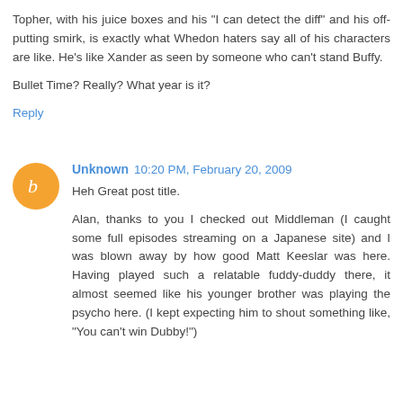Topher, with his juice boxes and his "I can detect the diff" and his off-putting smirk, is exactly what Whedon haters say all of his characters are like. He's like Xander as seen by someone who can't stand Buffy.
Bullet Time? Really? What year is it?
Reply
Unknown  10:20 PM, February 20, 2009
Heh Great post title.
Alan, thanks to you I checked out Middleman (I caught some full episodes streaming on a Japanese site) and I was blown away by how good Matt Keeslar was here. Having played such a relatable fuddy-duddy there, it almost seemed like his younger brother was playing the psycho here. (I kept expecting him to shout something like, "You can't win Dubby!")